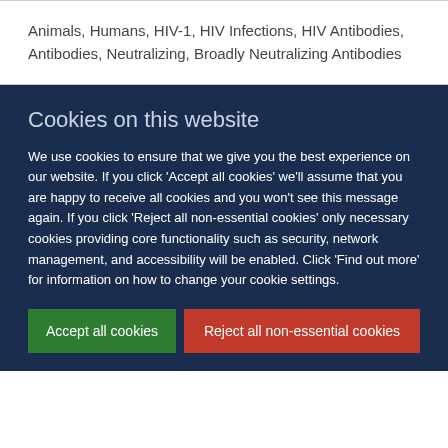Animals, Humans, HIV-1, HIV Infections, HIV Antibodies, Antibodies, Neutralizing, Broadly Neutralizing Antibodies
Cookies on this website
We use cookies to ensure that we give you the best experience on our website. If you click 'Accept all cookies' we'll assume that you are happy to receive all cookies and you won't see this message again. If you click 'Reject all non-essential cookies' only necessary cookies providing core functionality such as security, network management, and accessibility will be enabled. Click 'Find out more' for information on how to change your cookie settings.